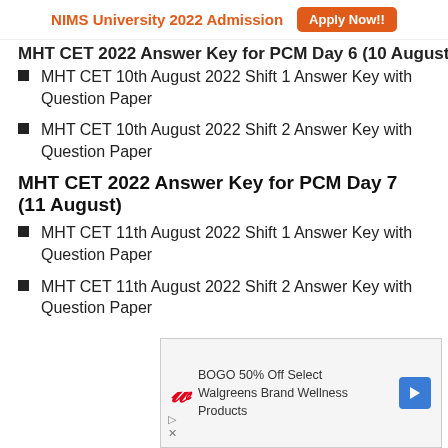NIMS University 2022 Admission  Apply Now!!
MHT CET 2022 Answer Key for PCM Day 6 (10 August)
MHT CET 10th August 2022 Shift 1 Answer Key with Question Paper
MHT CET 10th August 2022 Shift 2 Answer Key with Question Paper
MHT CET 2022 Answer Key for PCM Day 7 (11 August)
MHT CET 11th August 2022 Shift 1 Answer Key with Question Paper
MHT CET 11th August 2022 Shift 2 Answer Key with Question Paper
[Figure (other): Advertisement: BOGO 50% Off Select Walgreens Brand Wellness Products with Walgreens logo and navigation arrow]